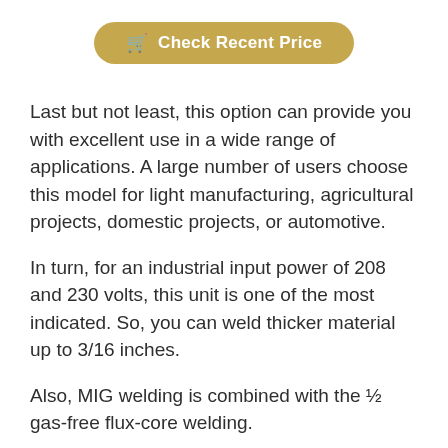[Figure (other): Gold/tan rounded button with shopping cart icon and text 'Check Recent Price']
Last but not least, this option can provide you with excellent use in a wide range of applications. A large number of users choose this model for light manufacturing, agricultural projects, domestic projects, or automotive.
In turn, for an industrial input power of 208 and 230 volts, this unit is one of the most indicated. So, you can weld thicker material up to 3/16 inches.
Also, MIG welding is combined with the ½ gas-free flux-core welding.